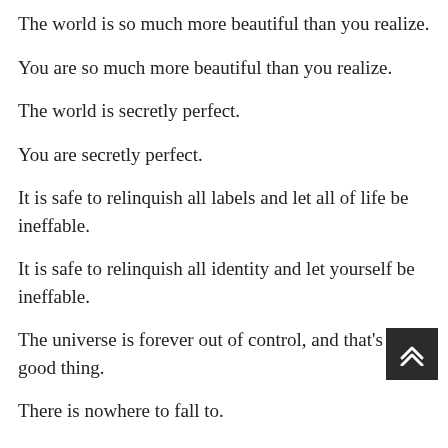The world is so much more beautiful than you realize.
You are so much more beautiful than you realize.
The world is secretly perfect.
You are secretly perfect.
It is safe to relinquish all labels and let all of life be ineffable.
It is safe to relinquish all identity and let yourself be ineffable.
The universe is forever out of control, and that's a good thing.
There is nowhere to fall to.